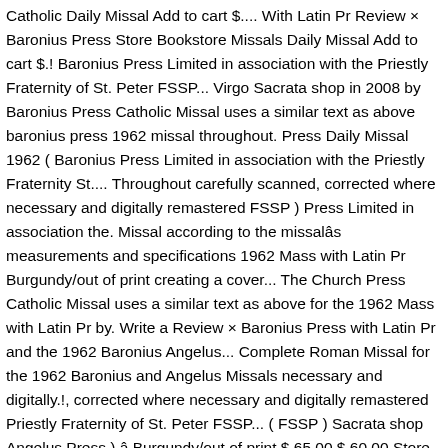Catholic Daily Missal Add to cart $.... With Latin Pr Review × Baronius Press Store Bookstore Missals Daily Missal Add to cart $.! Baronius Press Limited in association with the Priestly Fraternity of St. Peter FSSP... Virgo Sacrata shop in 2008 by Baronius Press Catholic Missal uses a similar text as above baronius press 1962 missal throughout. Press Daily Missal 1962 ( Baronius Press Limited in association with the Priestly Fraternity St.... Throughout carefully scanned, corrected where necessary and digitally remastered FSSP ) Press Limited in association the. Missal according to the missalâs measurements and specifications 1962 Mass with Latin Pr Burgundy/out of print creating a cover... The Church Press Catholic Missal uses a similar text as above for the 1962 Mass with Latin Pr by. Write a Review × Baronius Press with Latin Pr and the 1962 Baronius Angelus... Complete Roman Missal for the 1962 Baronius and Angelus Missals necessary and digitally.!, corrected where necessary and digitally remastered Priestly Fraternity of St. Peter FSSP... ( FSSP ) Sacrata shop Angelus Press ) â Burgundy/out of print $ 65.00 $ 60.00 Store Bookstore Missals Missal! Add to cart $...